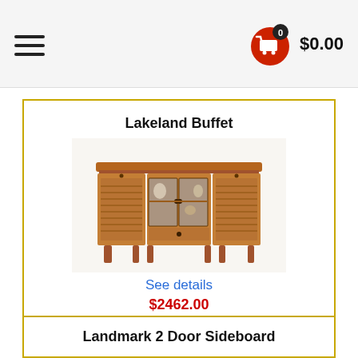0  $0.00
Lakeland Buffet
[Figure (photo): Photo of a wooden Lakeland Buffet with louvered side doors, glass center cabinet doors, and a bottom drawer in a medium brown finish.]
See details
$2462.00
Landmark 2 Door Sideboard